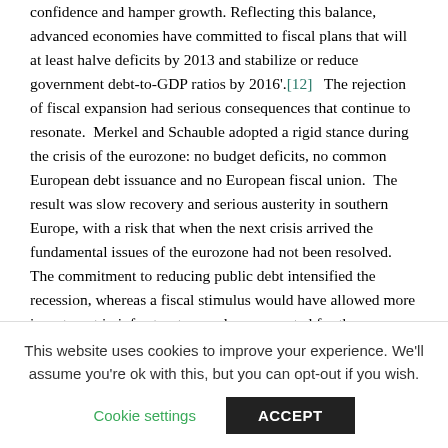confidence and hamper growth. Reflecting this balance, advanced economies have committed to fiscal plans that will at least halve deficits by 2013 and stabilize or reduce government debt-to-GDP ratios by 2016'.[12]  The rejection of fiscal expansion had serious consequences that continue to resonate.  Merkel and Schauble adopted a rigid stance during the crisis of the eurozone: no budget deficits, no common European debt issuance and no European fiscal union.  The result was slow recovery and serious austerity in southern Europe, with a risk that when the next crisis arrived the fundamental issues of the eurozone had not been resolved.  The commitment to reducing public debt intensified the recession, whereas a fiscal stimulus would have allowed more investment in infrastructure and compensated for the reduction in consumption.
This website uses cookies to improve your experience. We'll assume you're ok with this, but you can opt-out if you wish.